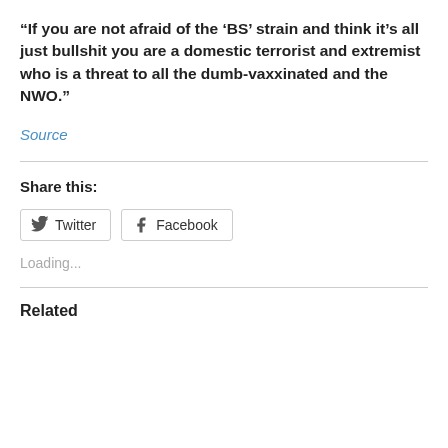“If you are not afraid of the ‘BS’ strain and think it’s all just bullshit you are a domestic terrorist and extremist who is a threat to all the dumb-vaxxinated and the NWO.”
Source
Share this:
Twitter
Facebook
Loading...
Related